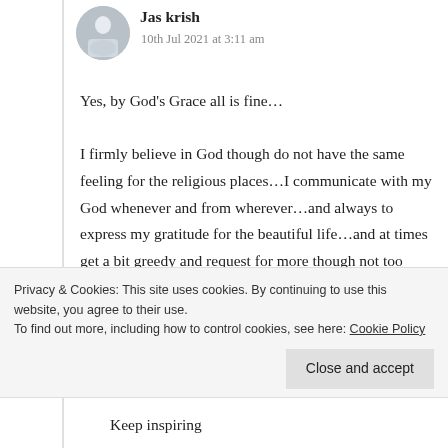Jas krish
10th Jul 2021 at 3:11 am
Yes, by God’s Grace all is fine…
I firmly believe in God though do not have the same feeling for the religious places…I communicate with my God whenever and from wherever…and always to express my gratitude for the beautiful life…and at times get a bit greedy and request for more though not too much…and off course never pestered Him with requests..it is
Privacy & Cookies: This site uses cookies. By continuing to use this website, you agree to their use.
To find out more, including how to control cookies, see here: Cookie Policy
Close and accept
Keep inspiring